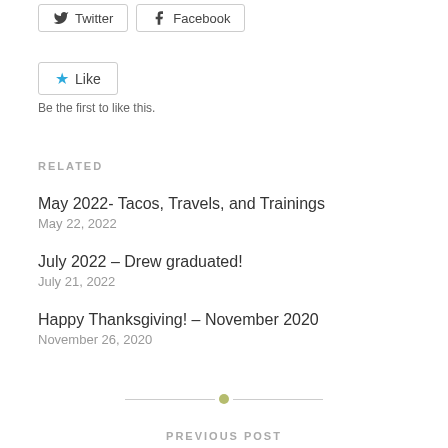[Figure (other): Twitter and Facebook share buttons]
[Figure (other): Like button with star icon]
Be the first to like this.
RELATED
May 2022- Tacos, Travels, and Trainings
May 22, 2022
July 2022 – Drew graduated!
July 21, 2022
Happy Thanksgiving! – November 2020
November 26, 2020
[Figure (other): Horizontal divider with a green dot in the center]
PREVIOUS POST